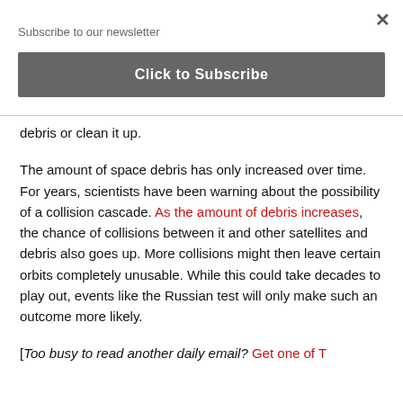Subscribe to our newsletter
Click to Subscribe
debris or clean it up.
The amount of space debris has only increased over time. For years, scientists have been warning about the possibility of a collision cascade. As the amount of debris increases, the chance of collisions between it and other satellites and debris also goes up. More collisions might then leave certain orbits completely unusable. While this could take decades to play out, events like the Russian test will only make such an outcome more likely.
[Too busy to read another daily email? Get one of T